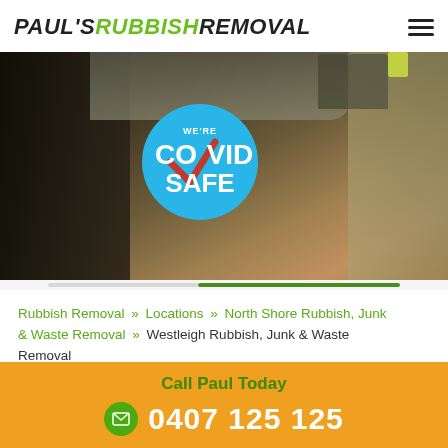PAUL'S RUBBISH REMOVAL
[Figure (photo): Photo of workers' feet and shoes on a concrete driveway near rubbish, with a COVID Safe circular badge overlaid in the center]
Rubbish Removal » Locations » North Shore Rubbish, Junk & Waste Removal » Westleigh Rubbish, Junk & Waste Removal
Call Paul Today
0407 125 125